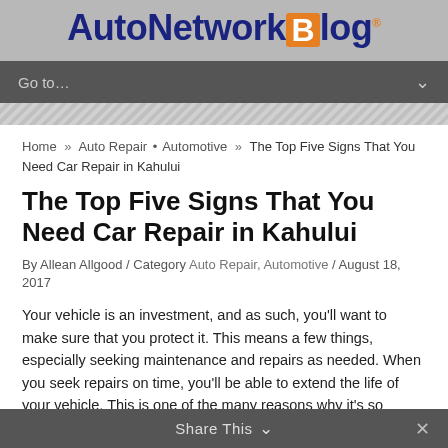AutoNetworkBlog
Go to...
Home » Auto Repair • Automotive » The Top Five Signs That You Need Car Repair in Kahului
The Top Five Signs That You Need Car Repair in Kahului
By Allean Allgood / Category Auto Repair, Automotive / August 18, 2017
Your vehicle is an investment, and as such, you'll want to make sure that you protect it. This means a few things, especially seeking maintenance and repairs as needed. When you seek repairs on time, you'll be able to extend the life of your vehicle. This is one of the many reasons why it's so imperative that you seek repairs for your vehicle on time.
Share This ∨  ×
Keeping on top of repairs can be tough, especially when you're